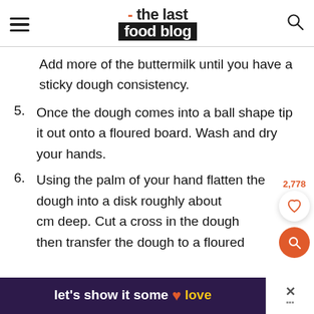- the last food blog
Add more of the buttermilk until you have a sticky dough consistency.
5. Once the dough comes into a ball shape tip it out onto a floured board. Wash and dry your hands.
6. Using the palm of your hand flatten the dough into a disk roughly about cm deep. Cut a cross in the dough then transfer the dough to a floured
let's show it some love